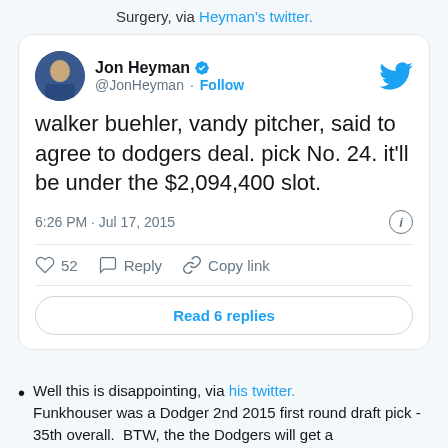Surgery, via Heyman's twitter.
[Figure (screenshot): Embedded tweet from Jon Heyman (@JonHeyman) with verified badge and Follow button. Tweet text: 'walker buehler, vandy pitcher, said to agree to dodgers deal. pick No. 24. it'll be under the $2,094,400 slot.' Posted 6:26 PM · Jul 17, 2015. 52 likes. Actions: Reply, Copy link. Button: Read 6 replies.]
Well this is disappointing, via his twitter. Funkhouser was a Dodger 2nd 2015 first round draft pick - 35th overall.  BTW, the the Dodgers will get a compensation pick in 2016 - a 36th pick.